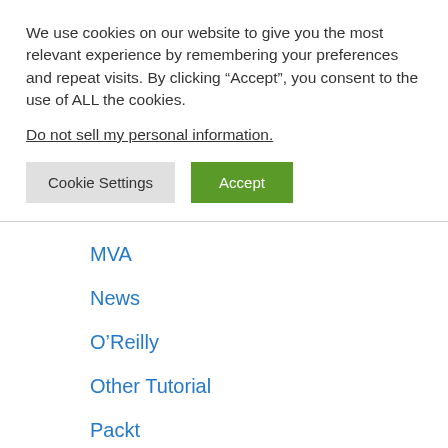We use cookies on our website to give you the most relevant experience by remembering your preferences and repeat visits. By clicking “Accept”, you consent to the use of ALL the cookies.
Do not sell my personal information.
Cookie Settings
Accept
MVA
News
O’Reilly
Other Tutorial
Packt
PacktPub
Pencilkings